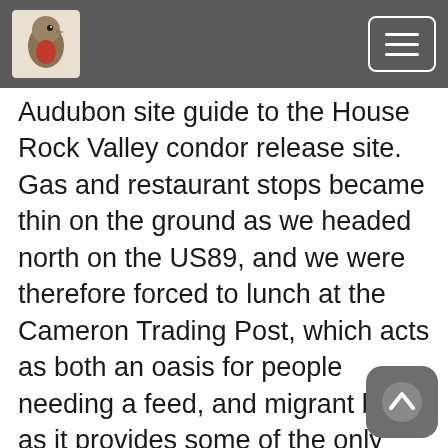[Bird logo] [Navigation menu button]
Audubon site guide to the House Rock Valley condor release site. Gas and restaurant stops became thin on the ground as we headed north on the US89, and we were therefore forced to lunch at the Cameron Trading Post, which acts as both an oasis for people needing a feed, and migrant birds as it provides some of the only cover for miles in this otherwise barren desert scape . We checked the garden behind the art gallery for birds and located just a few Wilson's and Yellow Warblers and not a lot else, although Northern Waterthrushes were reported there within a few days of our visit. We then motored on for Vermilion Cliffs, that had a shelter and signs giving information on the condors plight. The California Condors themselves were